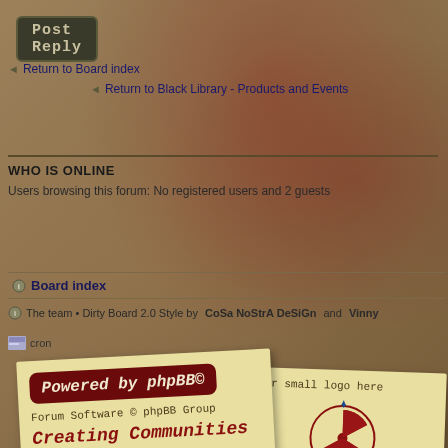[Figure (screenshot): Post Reply button with chalk-style text on dark background]
Return to Board index
Return to Black Library - Products and Events
WHO IS ONLINE
Users browsing this forum: No registered users and 2 guests
Board index
The team • Dirty Board 2.0 Style by CoSa NoStrA DeSiGn and Vinny
cron
[Figure (logo): phpBB powered sticky note with 'Powered by phpBB©', 'Forum Software © phpBB Group', 'Creating Communities Worldwide', 'valid xhtml and css']
[Figure (logo): Deal Corp sticky note with small logo placeholder text, radioactive symbol and DEAL CORP. logo, 'or what you want :)']